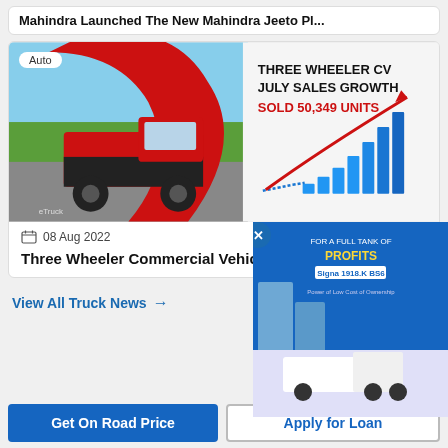Mahindra Launched The New Mahindra Jeeto Pl...
[Figure (photo): Three Wheeler CV July Sales Growth infographic showing a red three-wheeler cargo vehicle with a rising bar chart and arrow indicating growth. Text reads: THREE WHEELER CV JULY SALES GROWTH SOLD 50,349 UNITS]
08 Aug 2022
Three Wheeler Commercial Vehicle...
View All Truck News →
[Figure (photo): Advertisement popup showing a truck with text: FOR A FULL TANK OF PROFITS. Signa 1918.K BS6. Power of Low Cost of Ownership.]
Get On Road Price
Apply for Loan